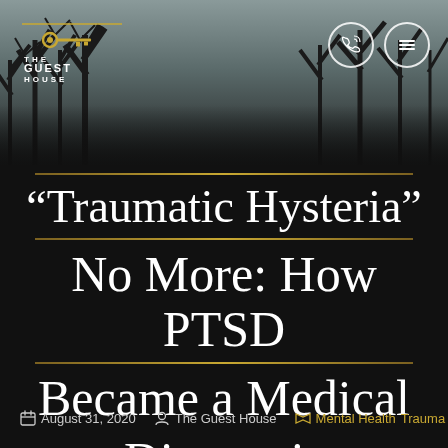[Figure (screenshot): Website header with dark background showing bare winter tree silhouettes, The Guest House logo with golden key on the left, and two circular navigation icons (phone and menu) on the right]
“Traumatic Hysteria” No More: How PTSD Became a Medical Diagnosis
August 31, 2020  The Guest House  Mental Health Trauma